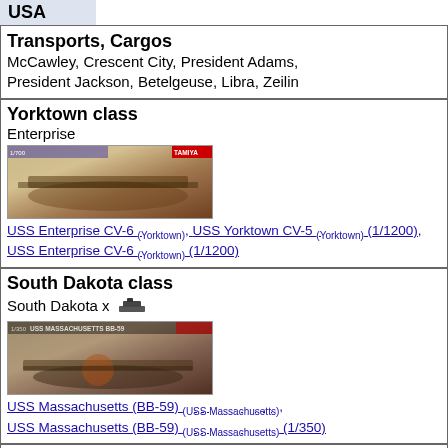USA
Transports, Cargos
McCawley, Crescent City, President Adams, President Jackson, Betelgeuse, Libra, Zeilin
Yorktown class
Enterprise
[Figure (photo): Model kit box art of USS Enterprise CV-6 aircraft carrier]
USS Enterprise CV-6 (Yorktown), USS Yorktown CV-5 (Yorktown) (1/1200), USS Enterprise CV-6 (Yorktown) (1/1200)
South Dakota class
South Dakota x [ship icon]
[Figure (photo): Model kit box art of USS Massachusetts BB-59 battleship]
USS Massachusetts (BB-59) (USS Massachusetts), USS Massachusetts (BB-59) (USS Massachusetts) (1/350)
North Carolina class
Washington
[Figure (photo): Model kit box art of North Carolina class battleship]